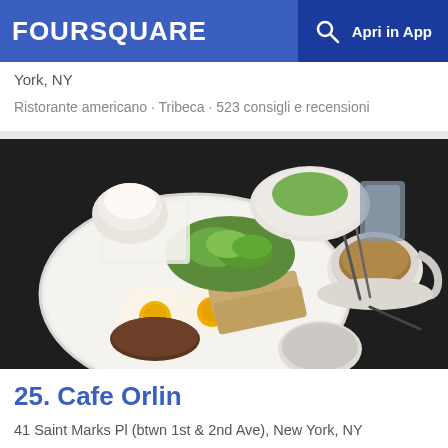FOURSQUARE  Apri in App
York, NY
Ristorante americano · Tribeca · 523 consigli e recensioni
[Figure (photo): A breakfast plate with fried eggs, toast, salad greens, and a cup of coffee/tea on a dark restaurant table]
25. Cafe Orlin
41 Saint Marks Pl (btwn 1st & 2nd Ave), New York, NY
Bar Caffè · East Village · 405 consigli e recensioni